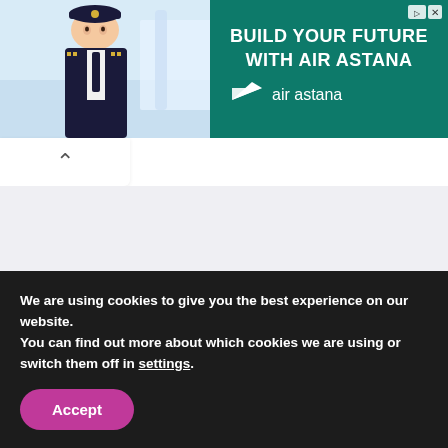[Figure (illustration): Air Astana advertisement banner showing a pilot in uniform on the left and green background with text 'BUILD YOUR FUTURE WITH AIR ASTANA' and Air Astana logo on the right]
[Figure (illustration): Collapse/chevron-up button in a white rounded bar below the advertisement]
[Figure (illustration): Five social media icon circles: Facebook, Twitter, Instagram, Pinterest, RSS feed]
Homecrux participates in various affiliate programs. We may earn a small commission for our recommendation(s) and/or
We are using cookies to give you the best experience on our website.
You can find out more about which cookies we are using or switch them off in settings.
Accept